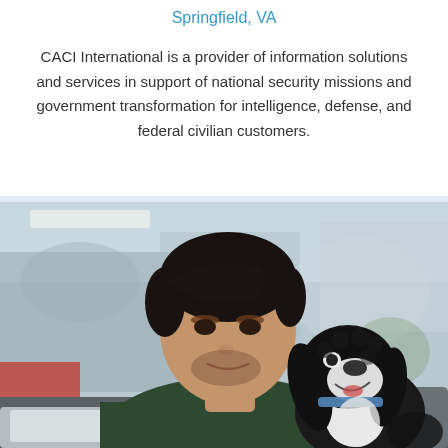Springfield, VA
CACI International is a provider of information solutions and services in support of national security missions and government transformation for intelligence, defense, and federal civilian customers.
[Figure (photo): A man with dark hair wearing a dark green sweater looks at a black and white cocker spaniel dog sitting beside him, with a laptop in the foreground and a blurred office background.]